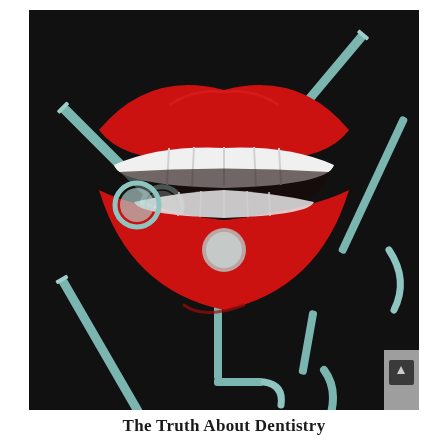[Figure (illustration): Graphic illustration of a wide-open red mouth/lips on a black background, surrounded by several teal/mint colored dental instruments (mirror, probe, scaler, hook, drill). The illustration uses flat graphic design style with bold red lips, white teeth, and stylized dental tools crossing over and around the mouth.]
The Truth About Dentistry